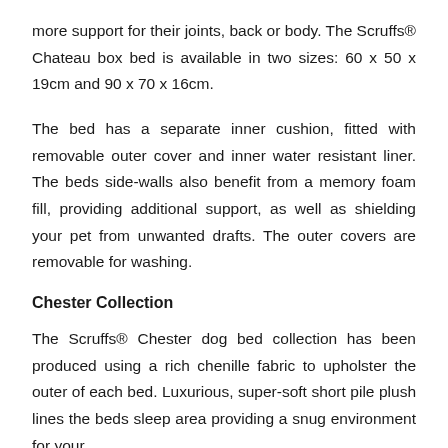more support for their joints, back or body. The Scruffs® Chateau box bed is available in two sizes: 60 x 50 x 19cm and 90 x 70 x 16cm.
The bed has a separate inner cushion, fitted with removable outer cover and inner water resistant liner. The beds side-walls also benefit from a memory foam fill, providing additional support, as well as shielding your pet from unwanted drafts. The outer covers are removable for washing.
Chester Collection
The Scruffs® Chester dog bed collection has been produced using a rich chenille fabric to upholster the outer of each bed. Luxurious, super-soft short pile plush lines the beds sleep area providing a snug environment for your